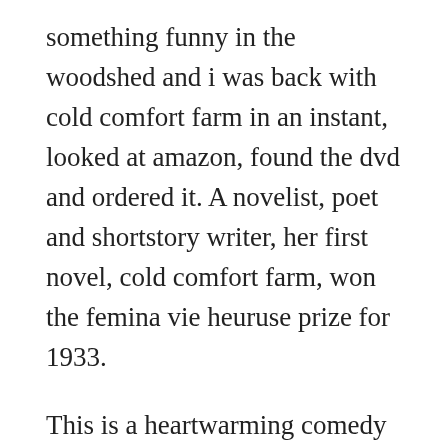something funny in the woodshed and i was back with cold comfort farm in an instant, looked at amazon, found the dvd and ordered it. A novelist, poet and shortstory writer, her first novel, cold comfort farm, won the femina vie heuruse prize for 1933.
This is a heartwarming comedy full of charm and clever satire. Starring kate beckinsale pearl harbor as flora poste, a london society girl, and joanna lumley absolutely fabulous as floras friend and mentor, this heartwarming comedy is full of charm and clever satire. See